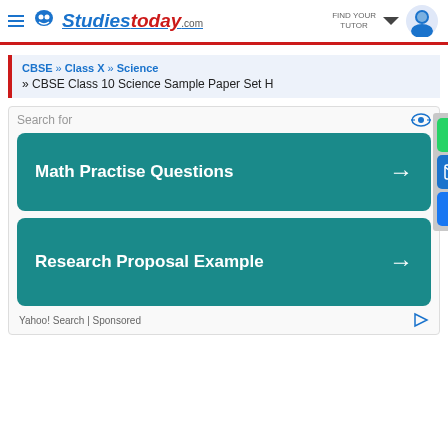studiestoday.com
CBSE » Class X » Science
» CBSE Class 10 Science Sample Paper Set H
[Figure (screenshot): Yahoo Search sponsored ad with two teal buttons: 'Math Practise Questions' and 'Research Proposal Example']
Yahoo! Search | Sponsored